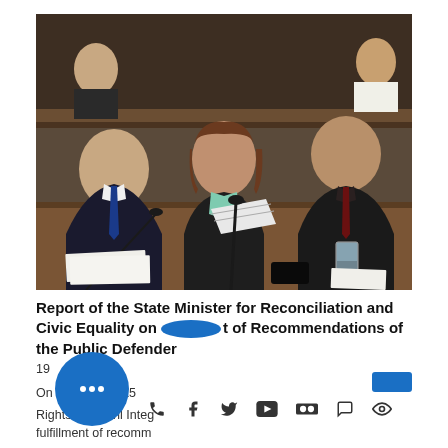[Figure (photo): Three people seated at a formal parliamentary or government session table. A woman in the center wearing a black jacket and teal blouse reads papers. A man in a dark suit and blue tie sits to her left. Another man in a dark suit sits to her right. Microphones, papers, and a glass of water are on the table.]
Report of the State Minister for Reconciliation and Civic Equality on Fulfillment of Recommendations of the Public Defender
19
On [date] 16, 2015
Rights and Civil Integ
fulfillment of recomm